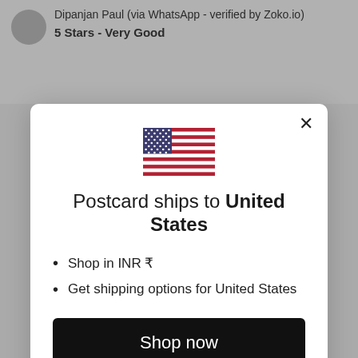Dipanjan Paul (via WhatsApp - verified by Zoko.io)
5 Stars - Very Good
[Figure (illustration): US flag emoji/icon centered in modal dialog]
Postcard ships to United States
Shop in INR ₹
Get shipping options for United States
Shop now
Change shipping country